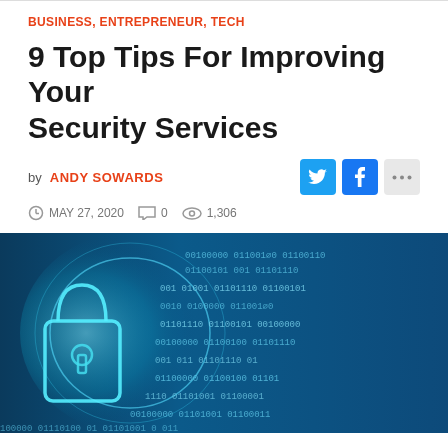BUSINESS, ENTREPRENEUR, TECH
9 Top Tips For Improving Your Security Services
by ANDY SOWARDS
MAY 27, 2020  0  1,306
[Figure (photo): Digital security concept image showing a glowing padlock icon overlaid on a blue binary code / digital data stream background]